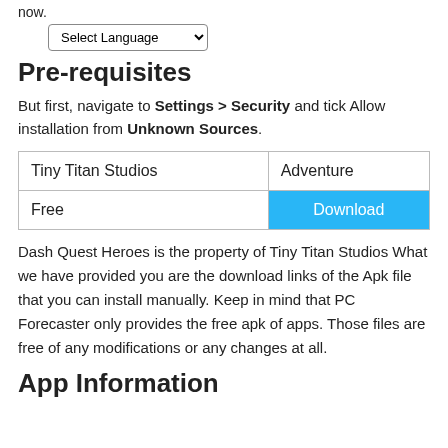now.
Select Language
Pre-requisites
But first, navigate to Settings > Security and tick Allow installation from Unknown Sources.
| Tiny Titan Studios | Adventure |
| Free | Download |
Dash Quest Heroes is the property of Tiny Titan Studios What we have provided you are the download links of the Apk file that you can install manually. Keep in mind that PC Forecaster only provides the free apk of apps. Those files are free of any modifications or any changes at all.
App Information